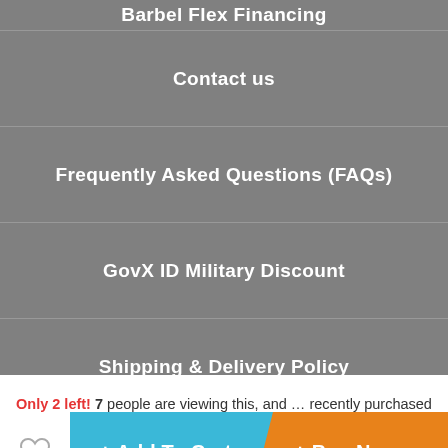Barbel Flex Financing
Contact us
Frequently Asked Questions (FAQs)
GovX ID Military Discount
Shipping & Delivery Policy
Price Match
Privacy Policy
Returns & Exchanges
Only 2 left! 7 people are viewing this, and … recently purchased it
+ Add To Cart
+ Buy Now